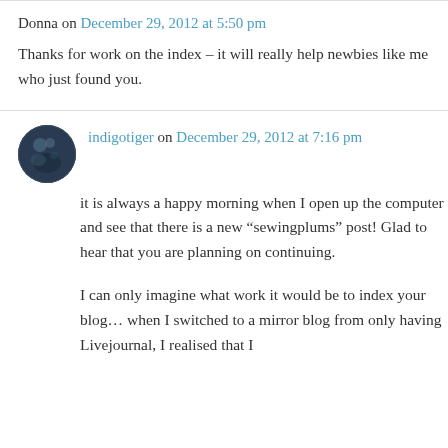Donna on December 29, 2012 at 5:50 pm
Thanks for work on the index – it will really help newbies like me who just found you.
indigotiger on December 29, 2012 at 7:16 pm
it is always a happy morning when I open up the computer and see that there is a new “sewingplums” post! Glad to hear that you are planning on continuing.
I can only imagine what work it would be to index your blog… when I switched to a mirror blog from only having Livejournal, I realised that I